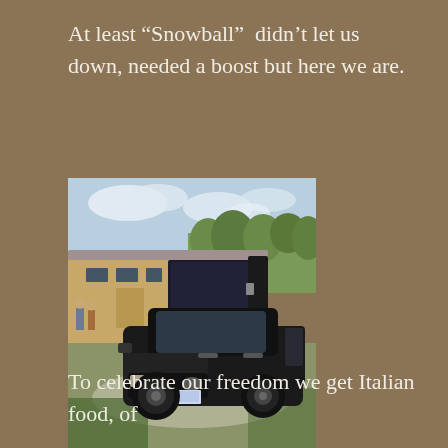At least “Snowball”  didn’t let us down, needed a boost but here we are.
[Figure (photo): A black Kia Soul SUV parked in front of a large motorhome/RV on a gravel and grass area with trees in the background under a partly cloudy sky.]
To celebrate our freedom we get Italian food, of